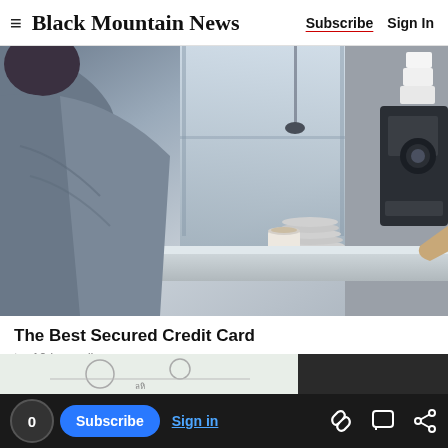≡ Black Mountain News   Subscribe  Sign In
[Figure (photo): Coffee shop scene: a smiling female barista in striped shirt behind a counter with coffee machines and stacked cups, facing a customer seen from behind wearing a grey jacket]
The Best Secured Credit Card
top10.hernodi.com
0  Subscribe  Sign in  [link icon]  [comment icon]  [share icon]